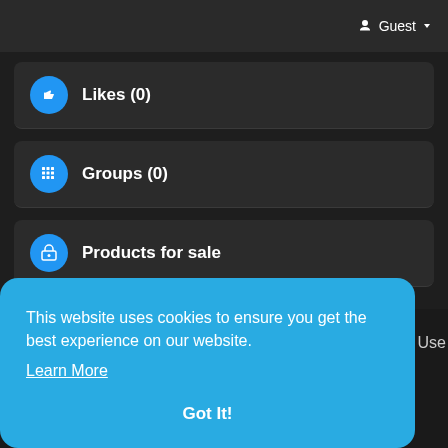Guest
Likes (0)
Groups (0)
Products for sale
This website uses cookies to ensure you get the best experience on our website.
Learn More
Got It!